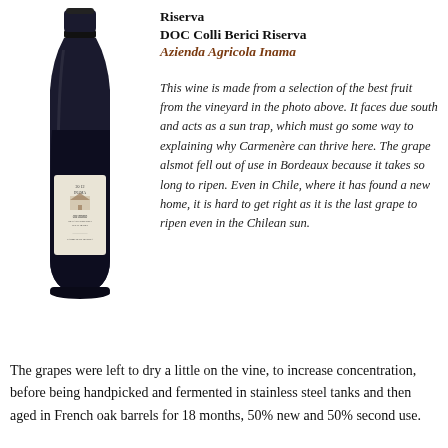[Figure (photo): A dark wine bottle with label reading 'Oratorio di San Lorenzo Colli Berici Carmenere Riserva' by Inama, vintage 2012.]
Riserva
DOC Colli Berici Riserva
Azienda Agricola Inama
This wine is made from a selection of the best fruit from the vineyard in the photo above. It faces due south and acts as a sun trap, which must go some way to explaining why Carmenère can thrive here. The grape alsmot fell out of use in Bordeaux because it takes so long to ripen. Even in Chile, where it has found a new home, it is hard to get right as it is the last grape to ripen even in the Chilean sun.
The grapes were left to dry a little on the vine, to increase concentration, before being handpicked and fermented in stainless steel tanks and then aged in French oak barrels for 18 months, 50% new and 50% second use.